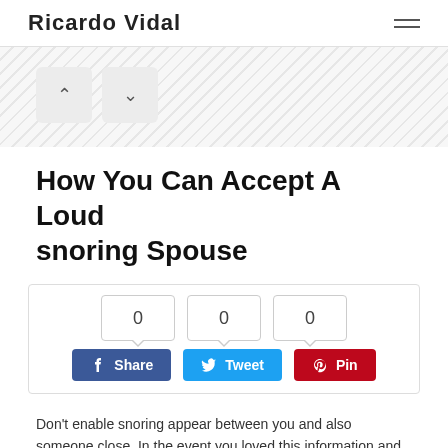Ricardo Vidal
How You Can Accept A Loud snoring Spouse
[Figure (infographic): Social share count boxes showing 0, 0, 0 with Facebook Share, Twitter Tweet, and Pinterest Pin buttons below]
Don't enable snoring appear between you and also someone close. In the event you loved this information and you wish to receive more information with regards to